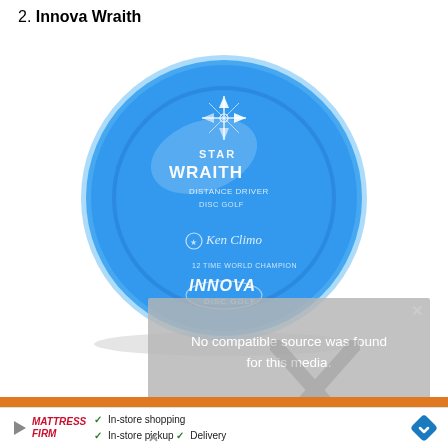2. Innova Wraith
[Figure (photo): Blue Innova Star Wraith distance driver disc golf disc with compass logo design, Ken Climo 12-time World Champion signature, and Innova Disc Golf branding on the top face.]
No compatible source was found for this media.
[Figure (infographic): Advertisement banner with orange bar, Mattress Firm logo, play button, checkmarks for In-store shopping, In-store pickup, and Delivery, and a blue navigation arrow icon.]